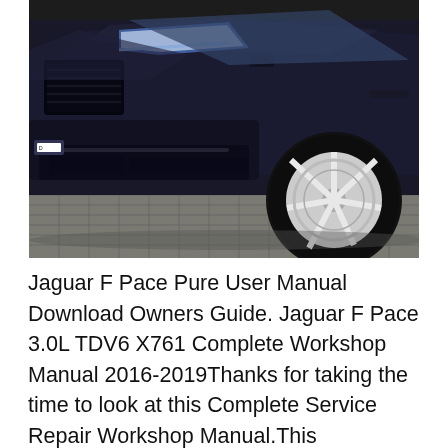[Figure (photo): Front three-quarter view of a dark navy/black Jaguar F-Pace SUV parked on a cobblestone street, showing the front bumper, grille, headlight, and right front wheel with silver alloy rim.]
Jaguar F Pace Pure User Manual Download Owners Guide. Jaguar F Pace 3.0L TDV6 X761 Complete Workshop Manual 2016-2019Thanks for taking the time to look at this Complete Service Repair Workshop Manual.This Downloadable Manual covers every Service & Repair Procedure you will